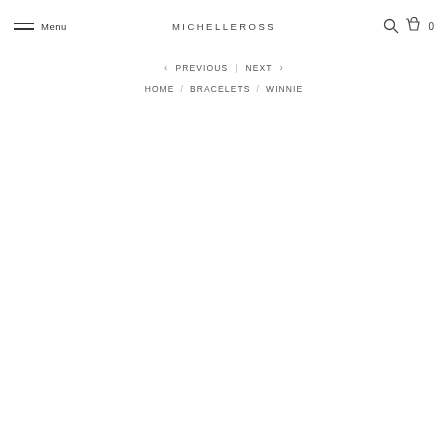Menu   MICHELLEROSS   0
< PREVIOUS | NEXT >
HOME / BRACELETS / WINNIE